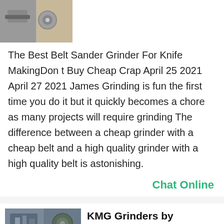[Figure (photo): Small thumbnail image of belt sander/grinder equipment at top left]
The Best Belt Sander Grinder For Knife MakingDon t Buy Cheap Crap April 25 2021 April 27 2021 James Grinding is fun the first time you do it but it quickly becomes a chore as many projects will require grinding The difference between a cheap grinder with a cheap belt and a high quality grinder with a high quality belt is astonishing.
Chat Online
[Figure (photo): Thumbnail image of industrial grinding equipment - KMG Grinders]
KMG Grinders by BeaumontUSA Knife Maker
KMG Universal Articulating Work Rest System for KMG TX and other grinders w KMG